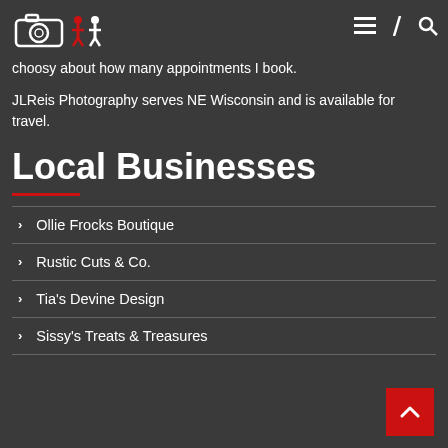JLReis Photography logo and navigation
choosy about how many appointments I book.
JLReis Photography serves NE Wisconsin and is available for travel.
Local Businesses
Ollie Frocks Boutique
Rustic Cuts & Co.
Tia's Devine Design
Sissy's Treats & Treasures